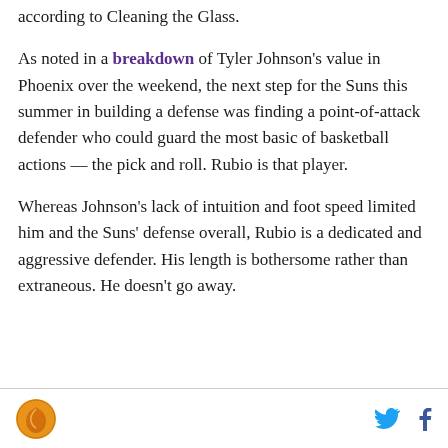according to Cleaning the Glass.
As noted in a breakdown of Tyler Johnson's value in Phoenix over the weekend, the next step for the Suns this summer in building a defense was finding a point-of-attack defender who could guard the most basic of basketball actions — the pick and roll. Rubio is that player.
Whereas Johnson's lack of intuition and foot speed limited him and the Suns' defense overall, Rubio is a dedicated and aggressive defender. His length is bothersome rather than extraneous. He doesn't go away.
Logo and social share icons